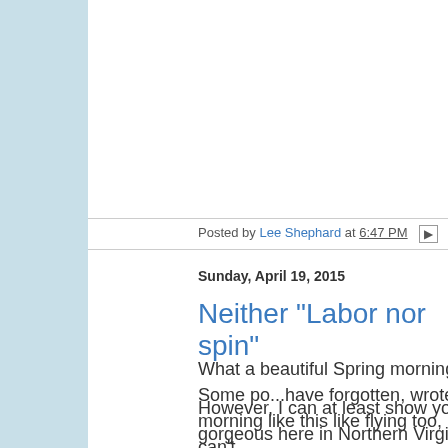Posted by Lee Shephard at 6:47 PM
Sunday, April 19, 2015
Neither "Labor nor spin"
What a beautiful Spring morning it is! Some po...have forgotten, wrote that a morning like this like flying too, but I can't.
However, I can at least show you the gorgeous here in Northern Virginia: